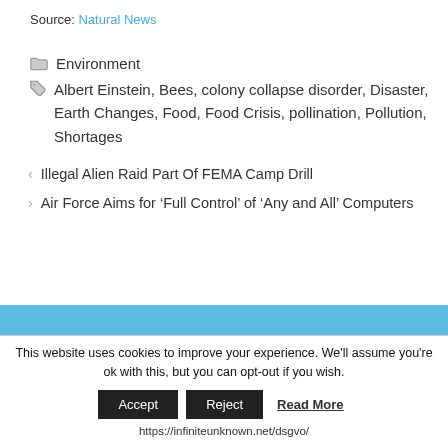Source: Natural News
Environment
Albert Einstein, Bees, colony collapse disorder, Disaster, Earth Changes, Food, Food Crisis, pollination, Pollution, Shortages
< Illegal Alien Raid Part Of FEMA Camp Drill
> Air Force Aims for ‘Full Control’ of ‘Any and All’ Computers
This website uses cookies to improve your experience. We'll assume you're ok with this, but you can opt-out if you wish.
Accept  Reject  Read More
https://infiniteunknown.net/dsgvo/